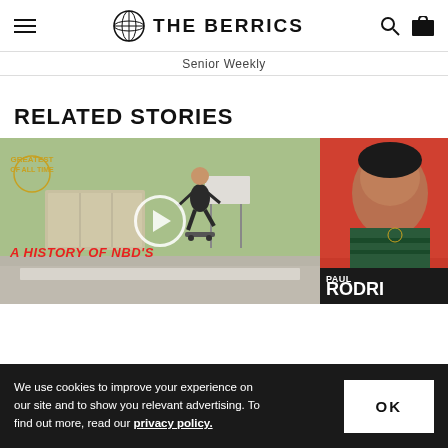THE BERRICS
Senior Weekly
RELATED STORIES
[Figure (screenshot): Skateboarding video thumbnail showing a skater performing a trick at an outdoor skate spot. Text overlay reads 'GREATEST OF ALL TIME' badge and 'A HISTORY OF NBD'S' in red italic text. A white play button circle is centered on the image.]
[Figure (photo): Partial view of a Paul Rodriguez profile card with red background and his name partially visible as 'PAUL RODRI...']
We use cookies to improve your experience on our site and to show you relevant advertising. To find out more, read our privacy policy.